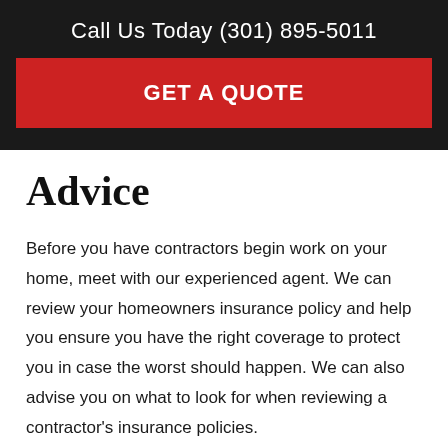Call Us Today (301) 895-5011
GET A QUOTE
Advice
Before you have contractors begin work on your home, meet with our experienced agent. We can review your homeowners insurance policy and help you ensure you have the right coverage to protect you in case the worst should happen. We can also advise you on what to look for when reviewing a contractor's insurance policies.